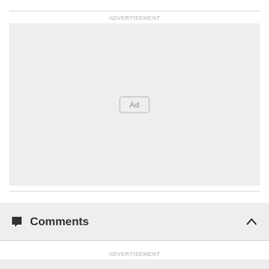ADVERTISEMENT
[Figure (other): Advertisement placeholder box with 'Ad' button label in center]
Comments
ADVERTISEMENT